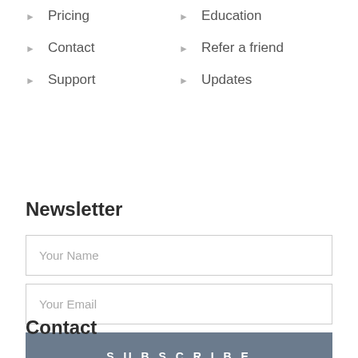Pricing
Education
Contact
Refer a friend
Support
Updates
Newsletter
Your Name
Your Email
SUBSCRIBE
Contact
[Figure (illustration): Location pin / map marker icon]